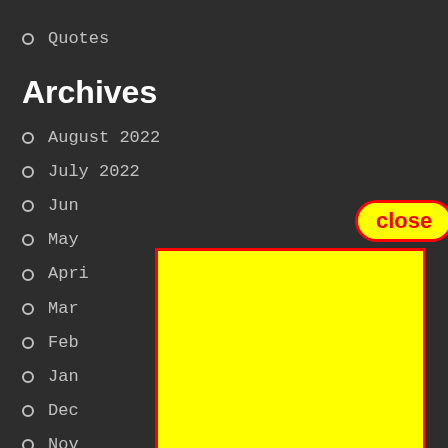Quotes
Archives
August 2022
July 2022
Jun…
May…
Apri…
Mar…
Feb…
Jan…
Dec…
Nov…
Oct…
September 2021
[Figure (screenshot): A yellow rectangle with a red border overlaying the bottom-right portion of the page, and a 'close' button with red text on yellow background with red rounded border, used as a UI annotation overlay.]